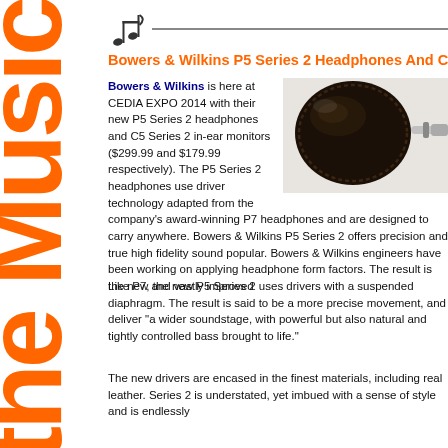Enjoy the Music
Bowers & Wilkins P5 Series 2 Headphones And C5...
[Figure (photo): Close-up photo of black leather headphone ear cup with cable connector]
Bowers & Wilkins is here at CEDIA EXPO 2014 with their new P5 Series 2 headphones and C5 Series 2 in-ear monitors ($299.99 and $179.99 respectively). The P5 Series 2 headphones use driver technology adapted from the company's award-winning P7 headphones and are designed to carry anywhere. Bowers & Wilkins P5 Series 2 offers precision and true high fidelity sound popular. Bowers & Wilkins engineers have been working on applying headphone form factors. The result is the new and vastly improved...
Like P7, the new P5 Series 2 uses drivers with a suspended diaphragm. The result is said to be a more precise movement, and deliver "a wider soundstage, with powerful but also natural and tightly controlled bass brought to life."
The new drivers are encased in the finest materials, including real leather. Series 2 is understated, yet imbued with a sense of style and is endlessly...